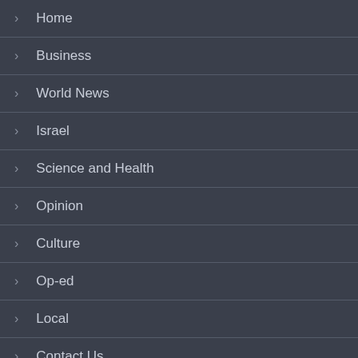> Home
> Business
> World News
> Israel
> Science and Health
> Opinion
> Culture
> Op-ed
> Local
> Contact Us
CONTACT US
info@jewishreview.co.il